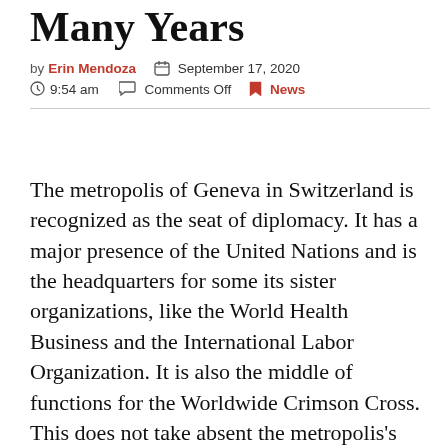Many Years
by Erin Mendoza   September 17, 2020   9:54 am   Comments Off   News
The metropolis of Geneva in Switzerland is recognized as the seat of diplomacy. It has a major presence of the United Nations and is the headquarters for some its sister organizations, like the World Health Business and the International Labor Organization. It is also the middle of functions for the Worldwide Crimson Cross. This does not take absent the metropolis's recognition as a vacationer destination. It is one of the topmost locations frequented by individuals, who want to have a ideal Swiss holiday. It is the gateway to the Alps. The canton of Geneva falls in the French-talking component of the nation and are not the d